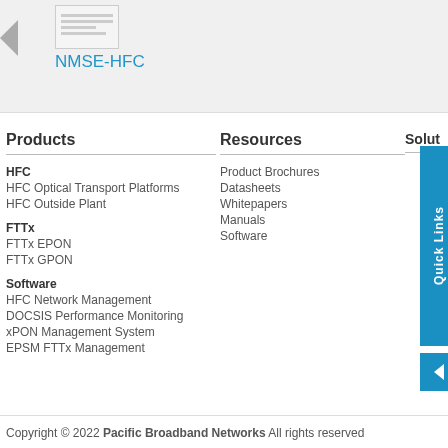[Figure (screenshot): Top section with thumbnail image, left arrow and NMSE-HFC label on grey background]
Products
Resources
Solut
HFC
HFC Optical Transport Platforms
HFC Outside Plant
FTTx
FTTx EPON
FTTx GPON
Software
HFC Network Management
DOCSIS Performance Monitoring
xPON Management System
EPSM FTTx Management
Product Brochures
Datasheets
Whitepapers
Manuals
Software
[Figure (infographic): Blue Quick Links panel with collapse arrow on right side]
Copyright © 2022 Pacific Broadband Networks All rights reserved